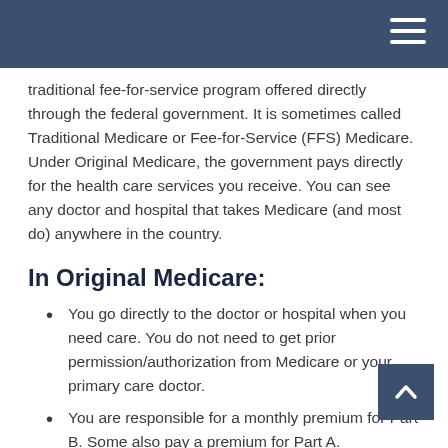traditional fee-for-service program offered directly through the federal government. It is sometimes called Traditional Medicare or Fee-for-Service (FFS) Medicare. Under Original Medicare, the government pays directly for the health care services you receive. You can see any doctor and hospital that takes Medicare (and most do) anywhere in the country.
In Original Medicare:
You go directly to the doctor or hospital when you need care. You do not need to get prior permission/authorization from Medicare or your primary care doctor.
You are responsible for a monthly premium for Part B. Some also pay a premium for Part A.
You typically pay a coinsurance for each service you